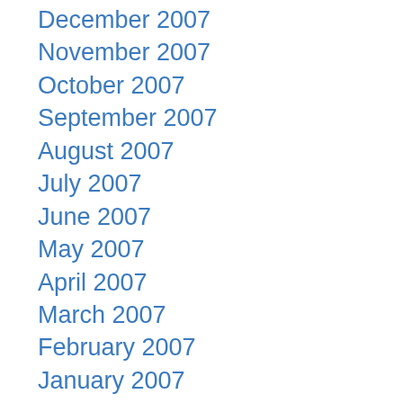December 2007
November 2007
October 2007
September 2007
August 2007
July 2007
June 2007
May 2007
April 2007
March 2007
February 2007
January 2007
December 2006
November 2006
October 2006